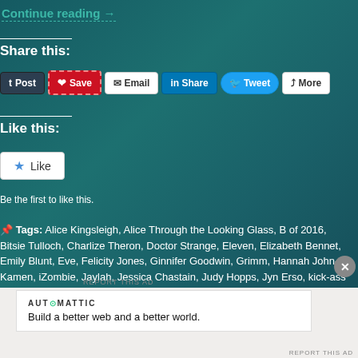Continue reading →
Share this:
Post | Save | Email | Share | Tweet | More
Like this:
Like
Be the first to like this.
Tags: Alice Kingsleigh, Alice Through the Looking Glass, B of 2016, Bitsie Tulloch, Charlize Theron, Doctor Strange, Eleven, Elizabeth Bennet, Emily Blunt, Eve, Felicity Jones, Ginnifer Goodwin, Grimm, Hannah John-Kamen, iZombie, Jaylah, Jessica Chastain, Judy Hopps, Jyn Erso, kick-ass
AUTOMATTIC
Build a better web and a better world.